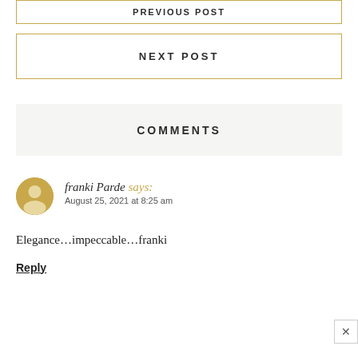PREVIOUS POST
NEXT POST
COMMENTS
franki Parde says:
August 25, 2021 at 8:25 am
Elegance…impeccable…franki
Reply